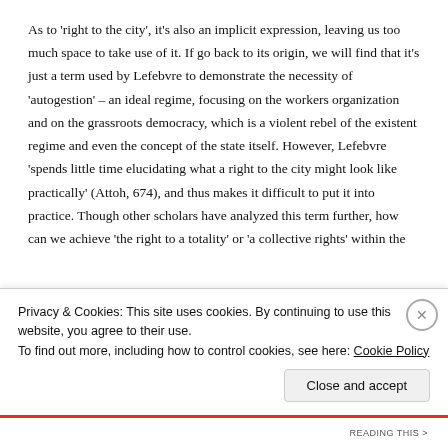As to 'right to the city', it's also an implicit expression, leaving us too much space to take use of it. If go back to its origin, we will find that it's just a term used by Lefebvre to demonstrate the necessity of 'autogestion' – an ideal regime, focusing on the workers organization and on the grassroots democracy, which is a violent rebel of the existent regime and even the concept of the state itself. However, Lefebvre 'spends little time elucidating what a right to the city might look like practically' (Attoh, 674), and thus makes it difficult to put it into practice. Though other scholars have analyzed this term further, how can we achieve 'the right to a totality' or 'a collective rights' within the
Privacy & Cookies: This site uses cookies. By continuing to use this website, you agree to their use.
To find out more, including how to control cookies, see here: Cookie Policy
Close and accept